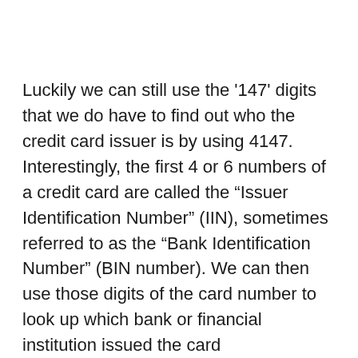Luckily we can still use the '147' digits that we do have to find out who the credit card issuer is by using 4147. Interestingly, the first 4 or 6 numbers of a credit card are called the “Issuer Identification Number” (IIN), sometimes referred to as the “Bank Identification Number” (BIN number). We can then use those digits of the card number to look up which bank or financial institution issued the card